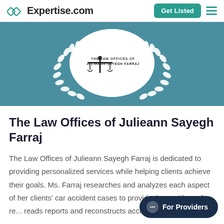Expertise.com | Get Listed
[Figure (logo): The Law Offices of Julieann Sayegh Farraj logo with scales of justice icon inside a white oval, surrounded by a white laurel wreath, on a teal background banner]
The Law Offices of Julieann Sayegh Farraj
The Law Offices of Julieann Sayegh Farraj is dedicated to providing personalized services while helping clients achieve their goals. Ms. Farraj researches and analyzes each aspect of her clients' car accident cases to provide them with quality re... reads reports and reconstructs accident scenes in